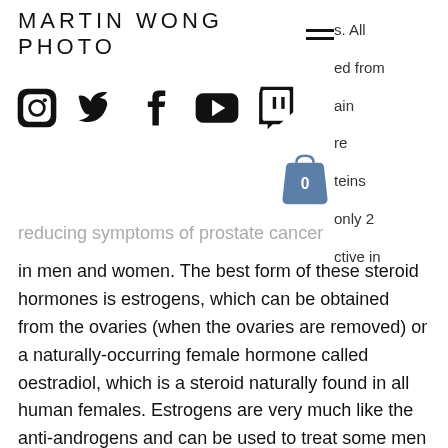MARTIN WONG PHOTO
[Figure (screenshot): Navigation bar with hamburger menu icon and partially visible right-side text overlay]
[Figure (other): Social media icons: Instagram, Twitter, Facebook, YouTube, Twitch, and a shopping cart with 0 items]
reducing symptoms of prostate cancer in men and women. The best form of these steroid hormones is estrogens, which can be obtained from the ovaries (when the ovaries are removed) or a naturally-occurring female hormone called oestradiol, which is a steroid naturally found in all human females. Estrogens are very much like the anti-androgens and can be used to treat some men and women of all age groups. Some of these steroids, as well as other, have been found in some drugs and alcohols but as they are also produced from anabolic (male) steroids, they are not classified as drugs,